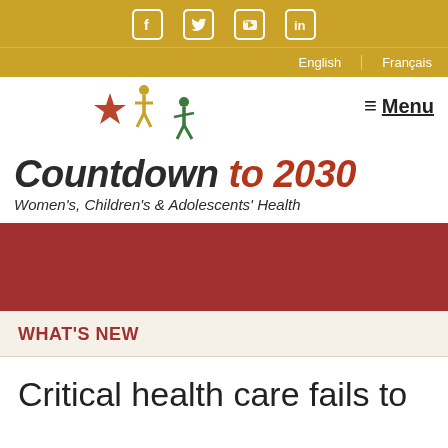Social icons: Facebook, Twitter, YouTube, LinkedIn
English | Français
[Figure (logo): Countdown to 2030 logo with stylized figures in red, gold, and green]
Countdown to 2030 — Women's, Children's & Adolescents' Health
WHAT'S NEW
Critical health care fails to